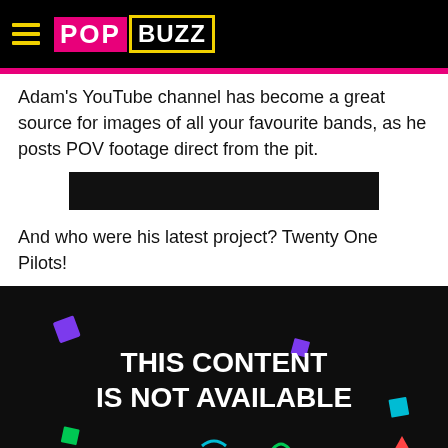PopBuzz
Adam's YouTube channel has become a great source for images of all your favourite bands, as he posts POV footage direct from the pit.
[Figure (other): Black embed/video placeholder bar]
And who were his latest project? Twenty One Pilots!
[Figure (other): Social media embed showing 'THIS CONTENT IS NOT AVAILABLE' with colorful confetti on black background]